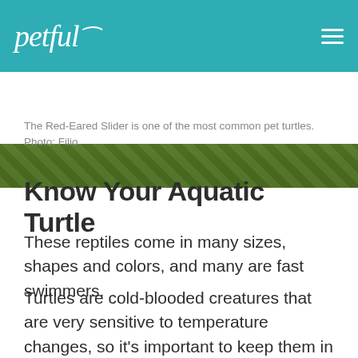petful
[Figure (photo): Partial photo of a turtle (Red-Eared Slider) at the top of the page beneath the header bar]
The Red-Eared Slider is one of the most common pet turtles. Photo: Filio
Know Your Aquatic Turtle
These reptiles come in many sizes, shapes and colors, and many are fast swimmers.
Turtles are cold-blooded creatures that are very sensitive to temperature changes, so it's important to keep them in their habitat. In other words, leave show-and-tell to the furry pets.
Aquatic turtles spend most of their time underwater.